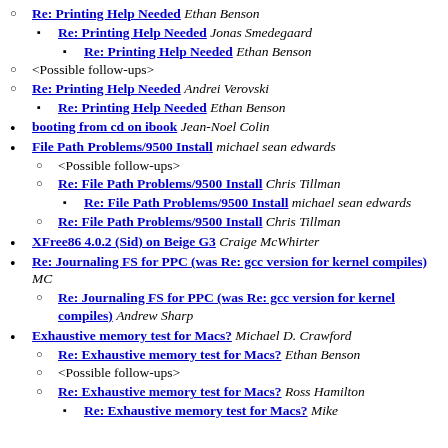Re: Printing Help Needed Ethan Benson
Re: Printing Help Needed Jonas Smedegaard
Re: Printing Help Needed Ethan Benson
<Possible follow-ups>
Re: Printing Help Needed Andrei Verovski
Re: Printing Help Needed Ethan Benson
booting from cd on ibook Jean-Noel Colin
File Path Problems/9500 Install michael sean edwards
<Possible follow-ups>
Re: File Path Problems/9500 Install Chris Tillman
Re: File Path Problems/9500 Install michael sean edwards
Re: File Path Problems/9500 Install Chris Tillman
XFree86 4.0.2 (Sid) on Beige G3 Craige McWhirter
Re: Journaling FS for PPC (was Re: gcc version for kernel compiles) MC
Re: Journaling FS for PPC (was Re: gcc version for kernel compiles) Andrew Sharp
Exhaustive memory test for Macs? Michael D. Crawford
Re: Exhaustive memory test for Macs? Ethan Benson
<Possible follow-ups>
Re: Exhaustive memory test for Macs? Ross Hamilton
Re: Exhaustive memory test for Macs? Mike